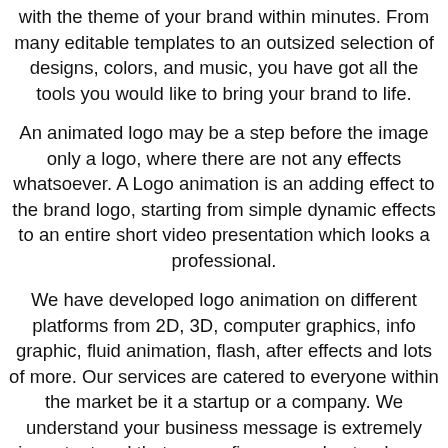with the theme of your brand within minutes. From many editable templates to an outsized selection of designs, colors, and music, you have got all the tools you would like to bring your brand to life.
An animated logo may be a step before the image only a logo, where there are not any effects whatsoever. A Logo animation is an adding effect to the brand logo, starting from simple dynamic effects to an entire short video presentation which looks a professional.
We have developed logo animation on different platforms from 2D, 3D, computer graphics, info graphic, fluid animation, flash, after effects and lots of more. Our services are catered to everyone within the market be it a startup or a company. We understand your business message is extremely important and that we confirm we understand your pre-requisites and accordingly develop services for you on the